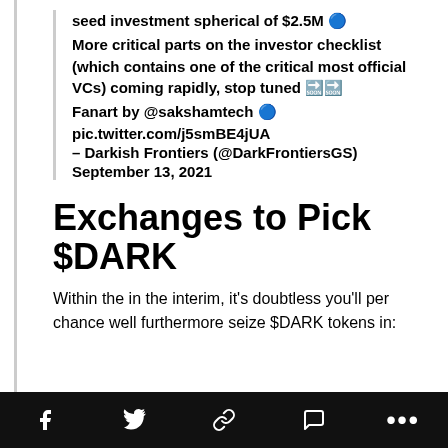seed investment spherical of $2.5M 🔵
More critical parts on the investor checklist (which contains one of the critical most official VCs) coming rapidly, stop tuned 🔜🔜
Fanart by @sakshamtech 🔵
pic.twitter.com/j5smBE4jUA
– Darkish Frontiers (@DarkFrontiersGS) September 13, 2021
Exchanges to Pick $DARK
Within the in the interim, it's doubtless you'll per chance well furthermore seize $DARK tokens in: